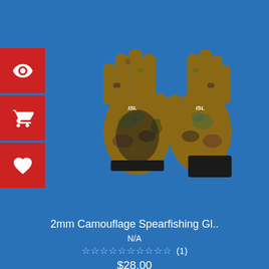[Figure (photo): Camouflage spearfishing gloves (orange/brown/black digital camo pattern) displayed against white background, shown as a pair]
2mm Camouflage Spearfishing Gl..
N/A
★★★★★★★★★★ (1)
$28.00
[Figure (photo): Second pair of camouflage spearfishing gloves (orange/brown/black digital camo pattern with black palm) displayed against white background]